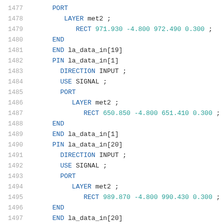1477    PORT
1478        LAYER met2 ;
1479            RECT 971.930 -4.800 972.490 0.300 ;
1480      END
1481      END la_data_in[19]
1482      PIN la_data_in[1]
1483        DIRECTION INPUT ;
1484        USE SIGNAL ;
1485        PORT
1486            LAYER met2 ;
1487                RECT 650.850 -4.800 651.410 0.300 ;
1488      END
1489      END la_data_in[1]
1490      PIN la_data_in[20]
1491        DIRECTION INPUT ;
1492        USE SIGNAL ;
1493        PORT
1494            LAYER met2 ;
1495                RECT 989.870 -4.800 990.430 0.300 ;
1496      END
1497      END la_data_in[20]